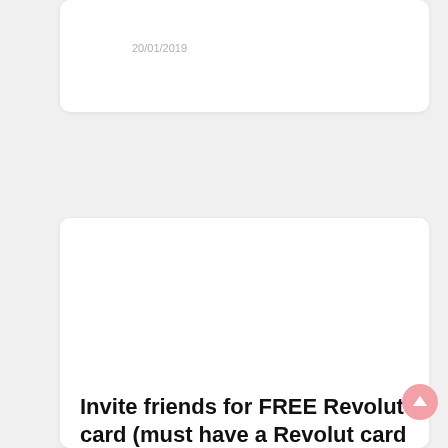20/01/2019
[Figure (other): White card with blank content area]
Invite friends for FREE Revolut card (must have a Revolut card